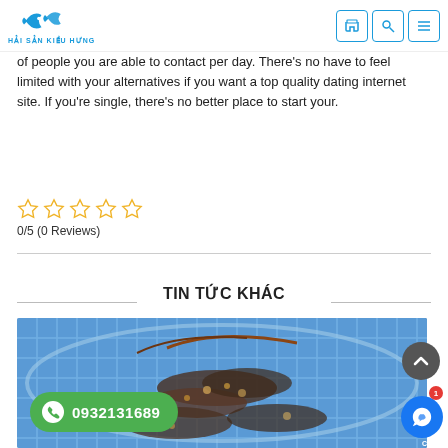[Figure (logo): Hải Sản Kiều Hưng logo with stylized fish/dolphin in blue teal and header navigation icons]
of people you are able to contact per day. There's no have to feel limited with your alternatives if you want a top quality dating internet site. If you're single, there's no better place to start your.
[Figure (other): Five empty star rating icons in yellow/orange outline]
0/5 (0 Reviews)
TIN TỨC KHÁC
[Figure (photo): Photo of lobsters/crabs in blue plastic crate basket]
0932131689